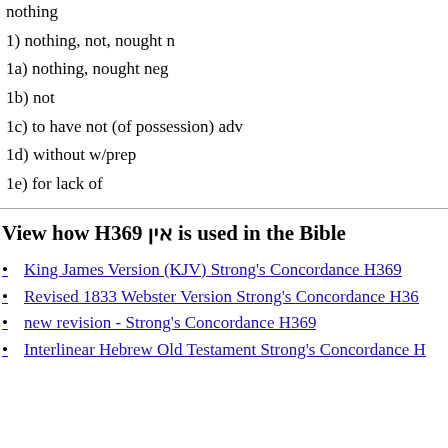nothing
1) nothing, not, nought n
1a) nothing, nought neg
1b) not
1c) to have not (of possession) adv
1d) without w/prep
1e) for lack of
View how H369 אין is used in the Bible
King James Version (KJV) Strong's Concordance H369
Revised 1833 Webster Version Strong's Concordance H369
new revision - Strong's Concordance H369
Interlinear Hebrew Old Testament Strong's Concordance H369